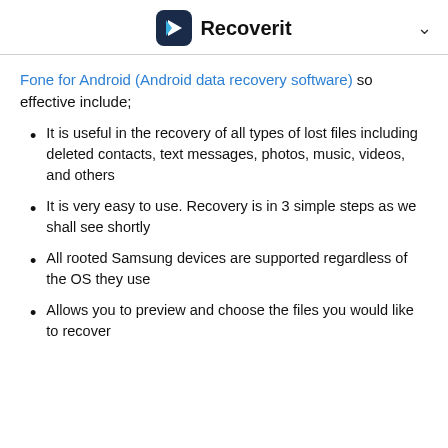Recoverit
Fone for Android (Android data recovery software) so effective include;
It is useful in the recovery of all types of lost files including deleted contacts, text messages, photos, music, videos, and others
It is very easy to use. Recovery is in 3 simple steps as we shall see shortly
All rooted Samsung devices are supported regardless of the OS they use
Allows you to preview and choose the files you would like to recover